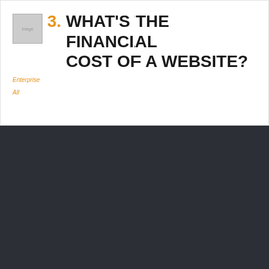3. WHAT'S THE FINANCIAL COST OF A WEBSITE?
Enterprise
All
[Figure (logo): Ajroni Web Agency logo — white geometric figure icon with AJRONI text below]
Ajroni Enterprises is an insights-driven, West Palm Beach development and design company in Florida, focused on